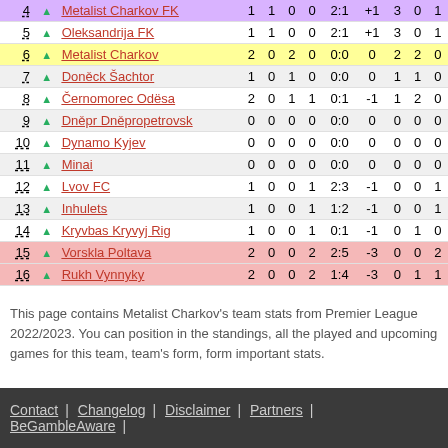| # |  | Team | P | W | D | L | G | +/- | V | R | N |
| --- | --- | --- | --- | --- | --- | --- | --- | --- | --- | --- | --- |
| 4 | ▲ | Metalist Charkov FK | 1 | 1 | 0 | 0 | 2:1 | +1 | 3 | 0 | 1 |
| 5 | ▲ | Oleksandrija FK | 1 | 1 | 0 | 0 | 2:1 | +1 | 3 | 0 | 1 |
| 6 | ▲ | Metalist Charkov | 2 | 0 | 2 | 0 | 0:0 | 0 | 2 | 2 | 0 |
| 7 | ▲ | Doněck Šachtor | 1 | 0 | 1 | 0 | 0:0 | 0 | 1 | 1 | 0 |
| 8 | ▲ | Černomorec Odësa | 2 | 0 | 1 | 1 | 0:1 | -1 | 1 | 2 | 0 |
| 9 | ▲ | Dněpr Dněpropetrovsk | 0 | 0 | 0 | 0 | 0:0 | 0 | 0 | 0 | 0 |
| 10 | ▲ | Dynamo Kyjev | 0 | 0 | 0 | 0 | 0:0 | 0 | 0 | 0 | 0 |
| 11 | ▲ | Minai | 0 | 0 | 0 | 0 | 0:0 | 0 | 0 | 0 | 0 |
| 12 | ▲ | Lvov FC | 1 | 0 | 0 | 1 | 2:3 | -1 | 0 | 0 | 1 |
| 13 | ▲ | Inhulets | 1 | 0 | 0 | 1 | 1:2 | -1 | 0 | 0 | 1 |
| 14 | ▲ | Kryvbas Kryvyj Rig | 1 | 0 | 0 | 1 | 0:1 | -1 | 0 | 1 | 0 |
| 15 | ▲ | Vorskla Poltava | 2 | 0 | 0 | 2 | 2:5 | -3 | 0 | 0 | 2 |
| 16 | ▲ | Rukh Vynnyky | 2 | 0 | 0 | 2 | 1:4 | -3 | 0 | 1 | 1 |
This page contains Metalist Charkov's team stats from Premier League 2022/2023. You can position in the standings, all the played and upcoming games for this team, team's form, form important stats.
Contact | Changelog | Disclaimer | Partners | BeGambleAware |